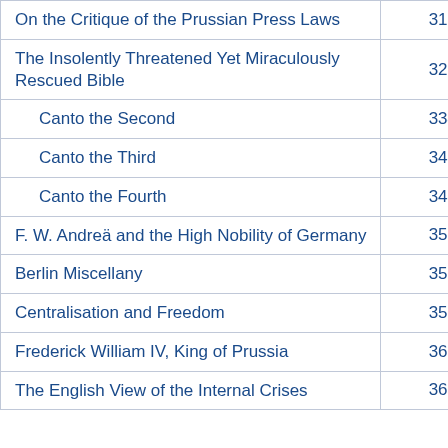| Title | Page |
| --- | --- |
| On the Critique of the Prussian Press Laws | 313 |
| The Insolently Threatened Yet Miraculously Rescued Bible | 326 |
| Canto the Second | 334 |
| Canto the Third | 344 |
| Canto the Fourth | 344 |
| F. W. Andreä and the High Nobility of Germany | 352 |
| Berlin Miscellany | 353 |
| Centralisation and Freedom | 355 |
| Frederick William IV, King of Prussia | 360 |
| The English View of the Internal Crises | 368 |